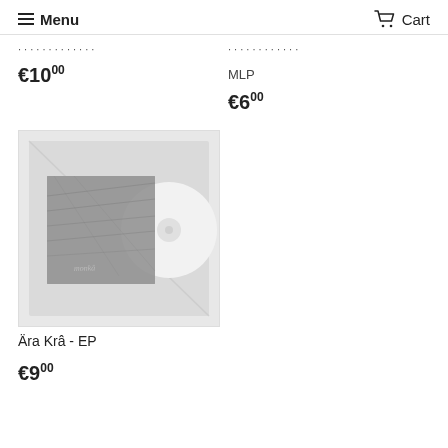Menu  Cart
€10.00
MLP
€6.00
[Figure (photo): Album cover photo showing a vinyl record partially in a sleeve, with a gray textured cover and white vinyl visible, with handwritten text on the cover]
Ära Krâ - EP
€9.00